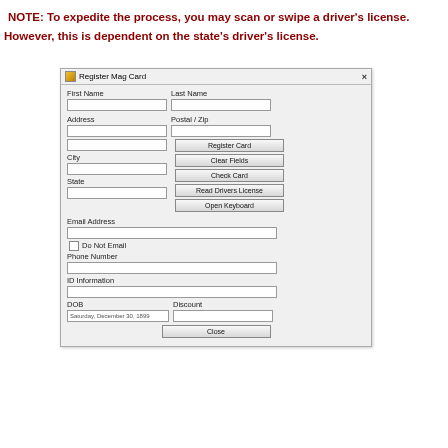NOTE: To expedite the process, you may scan or swipe a driver's license. However, this is dependent on the state's driver's license.
[Figure (screenshot): A Windows dialog box titled 'Register Mag Card' with form fields for First Name, Last Name, Address, Postal/Zip, City, State, Email Address, Phone Number, ID Information, DOB, Discount, and buttons: Register Card, Clear Fields, Check Card, Read Drivers License, Open Keyboard, Close. Also includes a Do Not Email checkbox.]